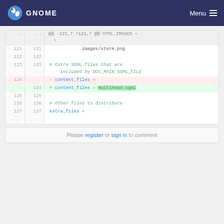GNOME — Menu
[Figure (screenshot): Code diff showing a git diff for a Makefile change. Lines 121-127 shown. Line 124 changed from 'content_files =' to 'content_files = multihead.sgml'.]
Please register or sign in to comment